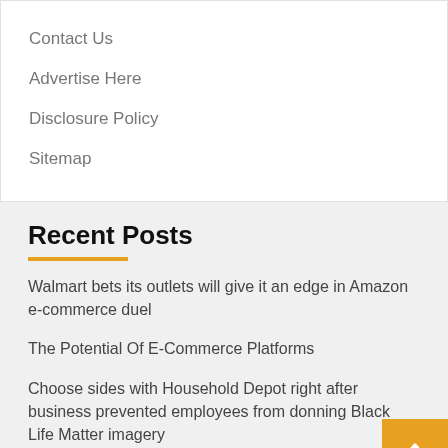Contact Us
Advertise Here
Disclosure Policy
Sitemap
Recent Posts
Walmart bets its outlets will give it an edge in Amazon e-commerce duel
The Potential Of E-Commerce Platforms
Choose sides with Household Depot right after business prevented employees from donning Black Life Matter imagery
4 E-Commerce Stocks You Can Buy and Hold for the